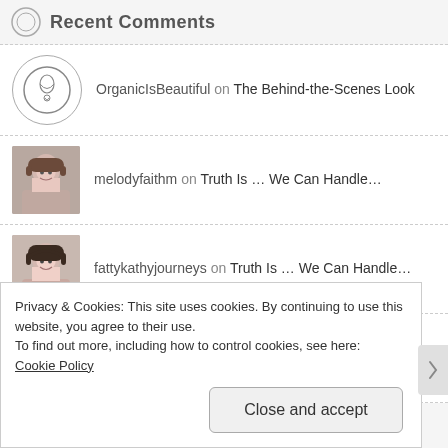Recent Comments
OrganicIsBeautiful on The Behind-the-Scenes Look
melodyfaithm on Truth Is … We Can Handle…
fattykathyjourneys on Truth Is … We Can Handle…
melodyfaithm on Season of Thanks: A Prayer and…
Privacy & Cookies: This site uses cookies. By continuing to use this website, you agree to their use. To find out more, including how to control cookies, see here: Cookie Policy
Close and accept